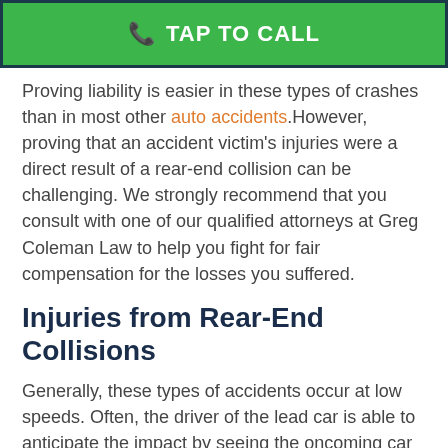[Figure (other): Green tap to call button with phone icon]
Proving liability is easier in these types of crashes than in most other auto accidents. However, proving that an accident victim's injuries were a direct result of a rear-end collision can be challenging. We strongly recommend that you consult with one of our qualified attorneys at Greg Coleman Law to help you fight for fair compensation for the losses you suffered.
Injuries from Rear-End Collisions
Generally, these types of accidents occur at low speeds. Often, the driver of the lead car is able to anticipate the impact by seeing the oncoming car through their rearview mirror. Due to the nature of these types of accidents, victims of rear-end